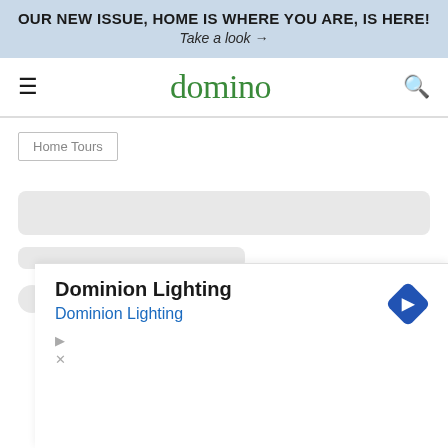OUR NEW ISSUE, HOME IS WHERE YOU ARE, IS HERE! Take a look →
domino
Home Tours
[Figure (screenshot): Loading skeleton bars - two gray rounded rectangles indicating content loading]
[Figure (screenshot): Ad overlay for Dominion Lighting with blue diamond navigation icon, title 'Dominion Lighting', subtitle 'Dominion Lighting', and close/play controls]